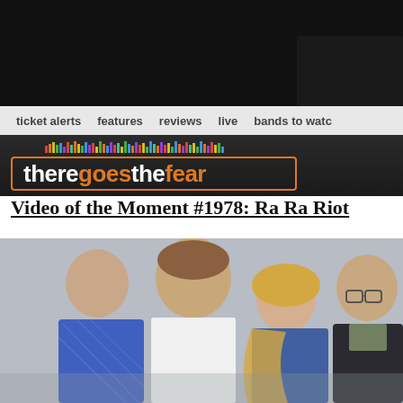[Figure (screenshot): Black header area of the theregoesthefear music website]
ticket alerts   features   reviews   live   bands to watch
[Figure (logo): theregoesthefear logo in orange and white text inside an orange rounded rectangle border, with colorful equalizer bars above]
Video of the Moment #1978: Ra Ra Riot
[Figure (photo): Photo of four members of the band Ra Ra Riot. From left: a man in a blue patterned shirt, a man in a white shirt facing forward, a blonde woman, and a man with glasses in a dark jacket. White/grey background.]